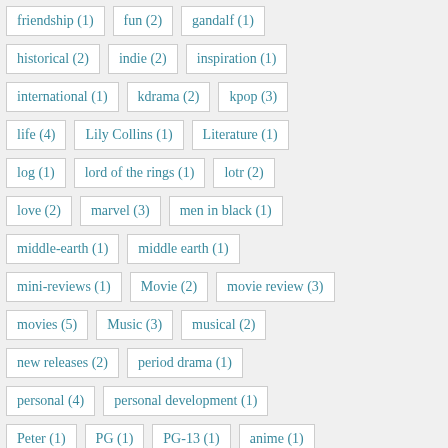friendship (1)
fun (2)
gandalf (1)
historical (2)
indie (2)
inspiration (1)
international (1)
kdrama (2)
kpop (3)
life (4)
Lily Collins (1)
Literature (1)
log (1)
lord of the rings (1)
lotr (2)
love (2)
marvel (3)
men in black (1)
middle-earth (1)
middle earth (1)
mini-reviews (1)
Movie (2)
movie review (3)
movies (5)
Music (3)
musical (2)
new releases (2)
period drama (1)
personal (4)
personal development (1)
Peter (1)
PG (1)
PG-13 (1)
anime (1)